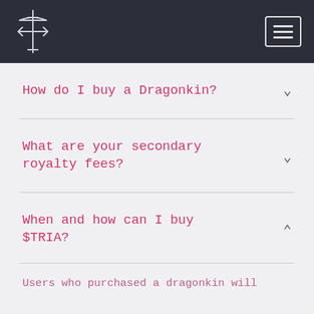[Logo + Navigation menu button]
How do I buy a Dragonkin?
What are your secondary royalty fees?
When and how can I buy $TRIA?
Users who purchased a dragonkin will